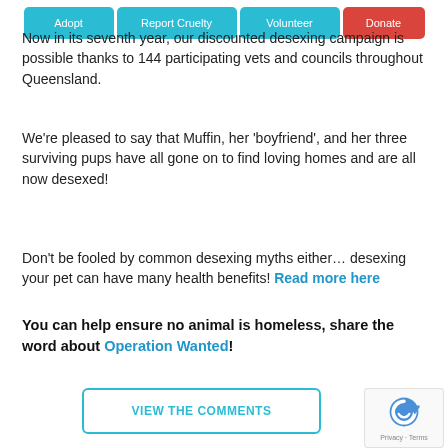Adopt | Report Cruelty | Volunteer | Donate
Now in its seventh year, our discounted desexing campaign is possible thanks to 144 participating vets and councils throughout Queensland.
We're pleased to say that Muffin, her 'boyfriend', and her three surviving pups have all gone on to find loving homes and are all now desexed!
Don't be fooled by common desexing myths either… desexing your pet can have many health benefits! Read more here
You can help ensure no animal is homeless, share the word about Operation Wanted!
VIEW THE COMMENTS